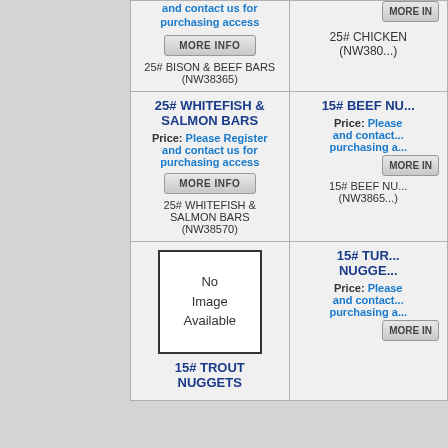and contact us for purchasing access
MORE INFO
25# BISON & BEEF BARS (NW38365)
MORE IN...
25# CHICKEN (NW380...)
25# WHITEFISH & SALMON BARS
Price: Please Register and contact us for purchasing access
MORE INFO
25# WHITEFISH & SALMON BARS (NW38570)
15# BEEF NU...
Price: Please and contact... purchasing a...
MORE IN...
15# BEEF NU... (NW3865...)
[Figure (other): No Image Available placeholder box]
15# TROUT NUGGETS
15# TUR... NUGGE...
Price: Please and contact... purchasing a...
MORE IN...